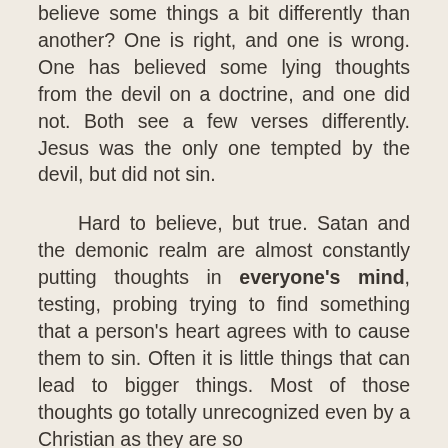believe some things a bit differently than another? One is right, and one is wrong. One has believed some lying thoughts from the devil on a doctrine, and one did not. Both see a few verses differently. Jesus was the only one tempted by the devil, but did not sin.

Hard to believe, but true. Satan and the demonic realm are almost constantly putting thoughts in everyone's mind, testing, probing trying to find something that a person's heart agrees with to cause them to sin. Often it is little things that can lead to bigger things. Most of those thoughts go totally unrecognized even by a Christian as they are so